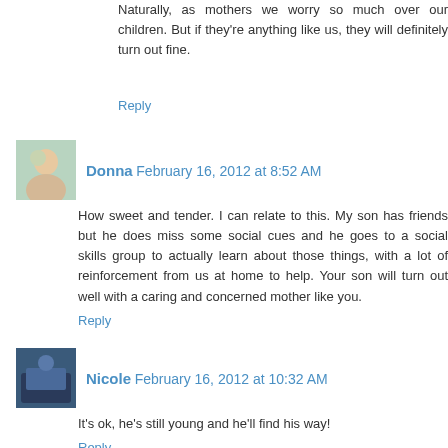Naturally, as mothers we worry so much over our children. But if they're anything like us, they will definitely turn out fine.
Reply
Donna  February 16, 2012 at 8:52 AM
How sweet and tender. I can relate to this. My son has friends but he does miss some social cues and he goes to a social skills group to actually learn about those things, with a lot of reinforcement from us at home to help. Your son will turn out well with a caring and concerned mother like you.
Reply
Nicole  February 16, 2012 at 10:32 AM
It's ok, he's still young and he'll find his way!
Reply